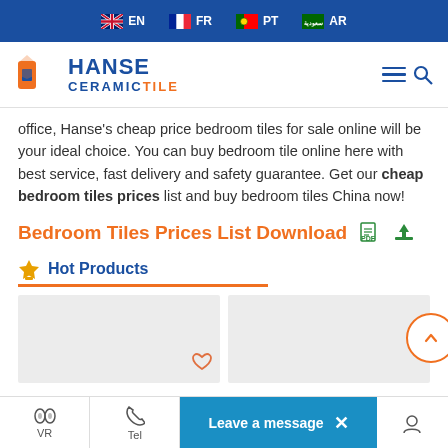EN  FR  PT  AR
[Figure (logo): Hanse Ceramic Tile logo with orange H icon and blue text]
office, Hanse's cheap price bedroom tiles for sale online will be your ideal choice. You can buy bedroom tile online here with best service, fast delivery and safety guarantee. Get our cheap bedroom tiles prices list and buy bedroom tiles China now!
Bedroom Tiles Prices List Download
🏆 Hot Products
[Figure (photo): Product card placeholder grey tiles]
[Figure (photo): Product card placeholder grey tiles second]
VR  Tel  Leave a message  ×